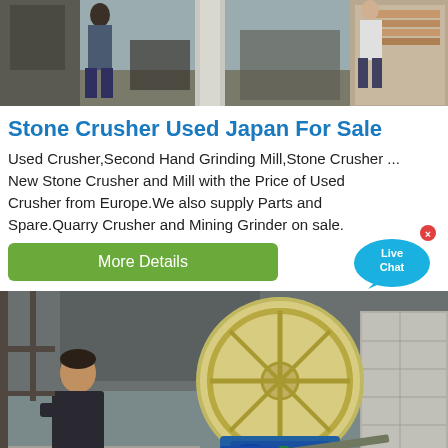[Figure (photo): Top photo showing construction/quarry site with workers and stone crusher equipment]
Stone Crusher Used Japan For Sale
Used Crusher,Second Hand Grinding Mill,Stone Crusher ... New Stone Crusher and Mill with the Price of Used Crusher from Europe.We also supply Parts and Spare.Quarry Crusher and Mining Grinder on sale.
[Figure (other): Green 'More Details' button and Live Chat speech bubble widget]
[Figure (photo): Bottom photo showing industrial sand washing machine with large wheel being inspected by a worker, with water flowing into concrete trough]